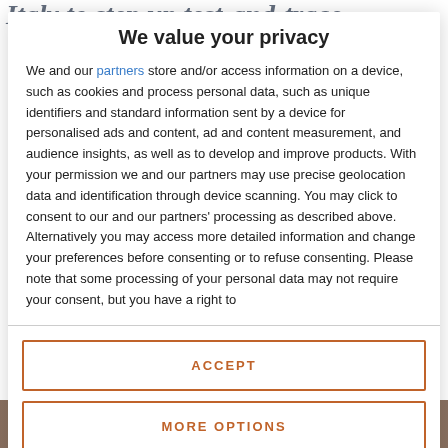Italy to step up test-and-trace
We value your privacy
We and our partners store and/or access information on a device, such as cookies and process personal data, such as unique identifiers and standard information sent by a device for personalised ads and content, ad and content measurement, and audience insights, as well as to develop and improve products. With your permission we and our partners may use precise geolocation data and identification through device scanning. You may click to consent to our and our partners' processing as described above. Alternatively you may access more detailed information and change your preferences before consenting or to refuse consenting. Please note that some processing of your personal data may not require your consent, but you have a right to
ACCEPT
MORE OPTIONS
[Figure (photo): Partial photo visible at bottom of page, appears to be a news article image related to Italy test-and-trace story]